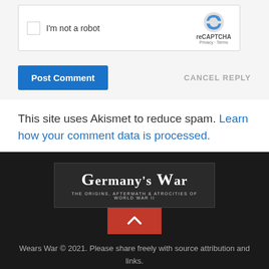[Figure (screenshot): reCAPTCHA widget with checkbox labeled 'I'm not a robot' and reCAPTCHA branding with Privacy and Terms links]
Post Comment
CANCEL REPLY
This site uses Akismet to reduce spam. Learn how your comment data is processed.
[Figure (logo): Germany's War logo - dark background with serif bold white text 'Germany's War' and subtitle 'THE ORIGINS, AFTERMATH & ATROCITIES OF WORLD WAR II']
[Figure (other): Red scroll-to-top button with upward chevron arrow]
Wears War © 2021. Please share freely with source attribution and links. Powered by WordPress. Theme by Alx.
[Figure (other): Social sharing bar with icons for Facebook, Twitter, Reddit, LinkedIn, Pinterest, MeWe, Mix, WhatsApp, Goodreads, WordPress, Blogger, Print, More]